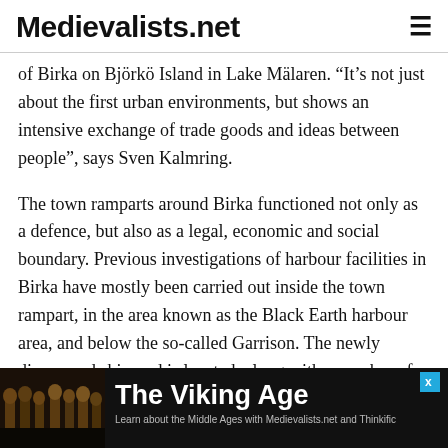Medievalists.net
of Birka on Björkö Island in Lake Mälaren. “It’s not just about the first urban environments, but shows an intensive exchange of trade goods and ideas between people”, says Sven Kalmring.
The town ramparts around Birka functioned not only as a defence, but also as a legal, economic and social boundary. Previous investigations of harbour facilities in Birka have mostly been carried out inside the town rampart, in the area known as the Black Earth harbour area, and below the so-called Garrison. The newly discovered shipyard is located, along with a number of other maritime remains, outside Birka’s town rampart, along the northern shore
[Figure (other): Advertisement banner for 'The Viking Age' course on Medievalists.net and Thinkific, with decorative viking figures image on the left and text on black background]